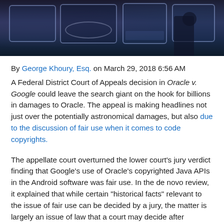[Figure (photo): Dark banner photo showing people working with screens/technology in a dim office or control room environment]
By George Khoury, Esq. on March 29, 2018 6:56 AM A Federal District Court of Appeals decision in Oracle v. Google could leave the search giant on the hook for billions in damages to Oracle. The appeal is making headlines not just over the potentially astronomical damages, but also due to the discussion of fair use when it comes to code copyrights.
The appellate court overturned the lower court's jury verdict finding that Google's use of Oracle's copyrighted Java APIs in the Android software was fair use. In the de novo review, it explained that while certain "historical facts" relevant to the issue of fair use can be decided by a jury, the matter is largely an issue of law that a court may decide after appropriate fact finding. Now Google faces a third trial in